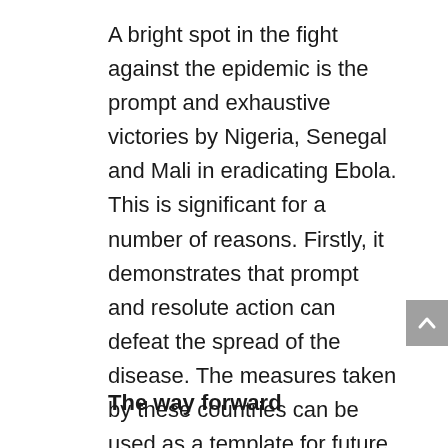A bright spot in the fight against the epidemic is the prompt and exhaustive victories by Nigeria, Senegal and Mali in eradicating Ebola. This is significant for a number of reasons. Firstly, it demonstrates that prompt and resolute action can defeat the spread of the disease. The measures taken by these countries can be used as a template for future epidemics. Finally, it demonstrates that African countries, with limited resources, can overcome this scourge.
The way forward